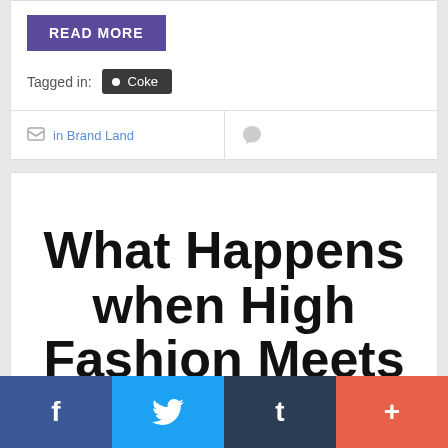READ MORE
Tagged in: Coke
in Brand Land
What Happens when High Fashion Meets Classical
f  t  t  +